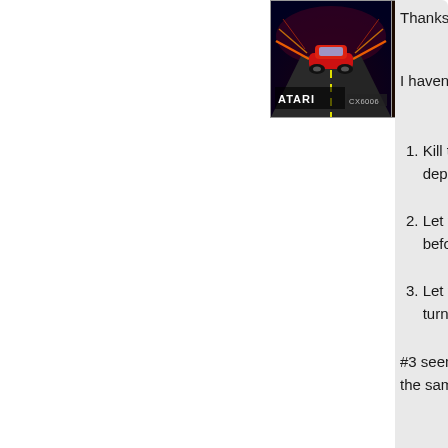[Figure (photo): Atari racing game cover art showing a red car with speed lines and Atari logo]
Thanks. It is in
I haven't yet de
Kill the b... deploym...
Let the b... before k...
Let the b... turn all d...
#3 seems like the same amo
-- Posted by Serio...
[Figure (photo): Pixel art image of Frogger-style game with green frog character on blue and orange background]
@Serious:
Have you ever
http://atariage.
The manual sa